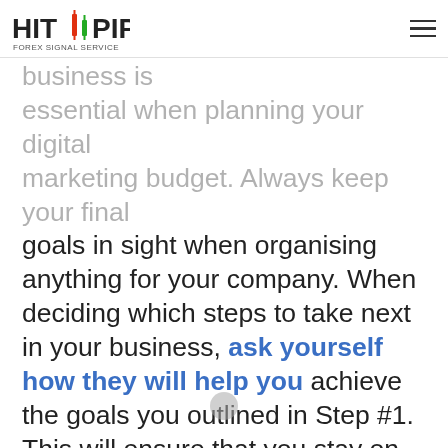HIT PIPS FOREX SIGNAL SERVICE [logo] [hamburger menu]
Establishing a solid vision for your business is essential when planning your digital marketing budget. Always keep your final goals in sight when organising anything for your company. When deciding which steps to take next in your business, ask yourself how they will help you achieve the goals you outlined in Step #1. This will ensure that you stay on track and prevent you from spending your budget on anything that won't help you achieve.